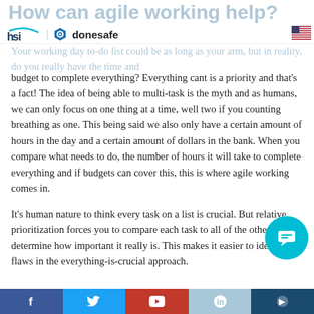HSI | donesafe
How can agile working help?
Your working day to-do list could be as long as your arm, but in reality, do you really have the time and budget to complete everything? Everything cant is a priority and that's a fact! The idea of being able to multi-task is the myth and as humans, we can only focus on one thing at a time, well two if you counting breathing as one. This being said we also only have a certain amount of hours in the day and a certain amount of dollars in the bank. When you compare what needs to do, the number of hours it will take to complete everything and if budgets can cover this, this is where agile working comes in.
It's human nature to think every task on a list is crucial. But relative prioritization forces you to compare each task to all of the others to determine how important it really is. This makes it easier to identify flaws in the everything-is-crucial approach.